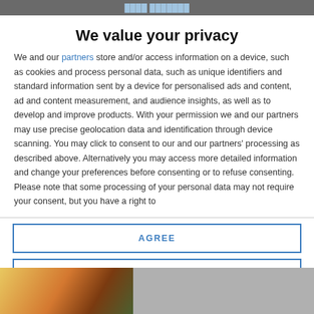We value your privacy
We and our partners store and/or access information on a device, such as cookies and process personal data, such as unique identifiers and standard information sent by a device for personalised ads and content, ad and content measurement, and audience insights, as well as to develop and improve products. With your permission we and our partners may use precise geolocation data and identification through device scanning. You may click to consent to our and our partners' processing as described above. Alternatively you may access more detailed information and change your preferences before consenting or to refuse consenting. Please note that some processing of your personal data may not require your consent, but you have a right to
AGREE
MORE OPTIONS
[Figure (photo): Partial thumbnail image visible at bottom left of page]